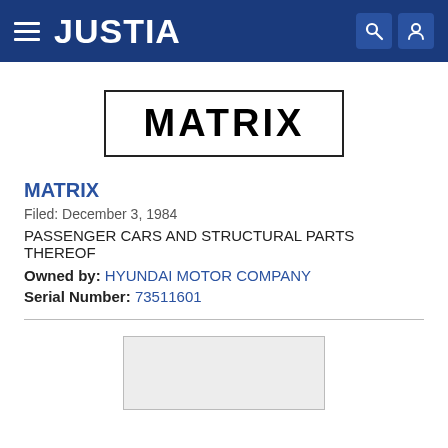JUSTIA
[Figure (logo): MATRIX trademark word mark displayed in bold black letters inside a rectangular border]
MATRIX
Filed: December 3, 1984
PASSENGER CARS AND STRUCTURAL PARTS THEREOF
Owned by: HYUNDAI MOTOR COMPANY
Serial Number: 73511601
[Figure (other): Partially visible trademark image box at the bottom of the page]